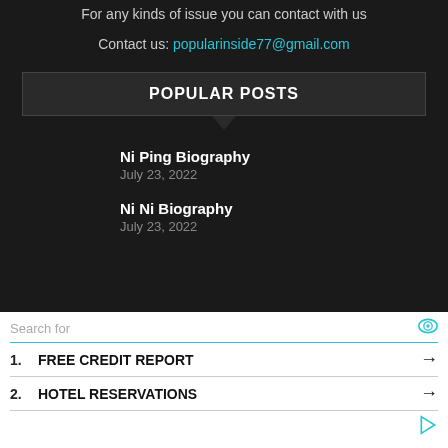For any kinds of issue you can contact with us
Contact us: popularinside77@gmail.com
POPULAR POSTS
Ni Ping Biography
July 23, 2022
Ni Ni Biography
July 23, 2022
Search for
1. FREE CREDIT REPORT
2. HOTEL RESERVATIONS